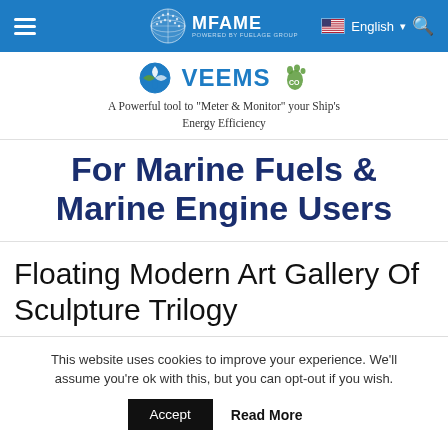MFAME navigation bar with hamburger menu, MFAME globe logo, English language selector, and search icon
[Figure (logo): VEEMS advertisement banner with circular logo, VEEMS text, CO2 footprint icon, tagline: A Powerful tool to "Meter & Monitor" your Ship's Energy Efficiency]
For Marine Fuels & Marine Engine Users
Floating Modern Art Gallery Of Sculpture Trilogy
This website uses cookies to improve your experience. We'll assume you're ok with this, but you can opt-out if you wish.